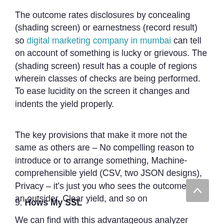The outcome rates disclosures by concealing (shading screen) or earnestness (record result) so digital marketing company in mumbai can tell on account of something is lucky or grievous. The (shading screen) result has a couple of regions wherein classes of checks are being performed. To ease lucidity on the screen it changes and indents the yield properly.
The key provisions that make it more not the same as others are – No compelling reason to introduce or to arrange something, Machine-comprehensible yield (CSV, two JSON designs), Privacy – it's just you who sees the outcome, not an outsider, Clear yield, and so on
9. Hows My SSL
We can find with this advantageous analyzer